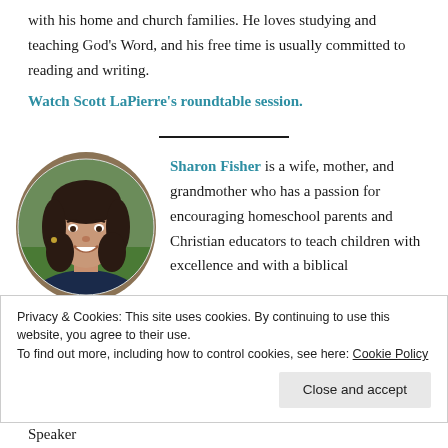with his home and church families. He loves studying and teaching God's Word, and his free time is usually committed to reading and writing.
Watch Scott LaPierre's roundtable session.
[Figure (photo): Circular portrait photo of Sharon Fisher, a woman with dark hair, smiling, outdoors with green background.]
Sharon Fisher is a wife, mother, and grandmother who has a passion for encouraging homeschool parents and Christian educators to teach children with excellence and with a biblical
Privacy & Cookies: This site uses cookies. By continuing to use this website, you agree to their use.
To find out more, including how to control cookies, see here: Cookie Policy
Press. She serves as Social Media Coordinator, Workshop Speaker